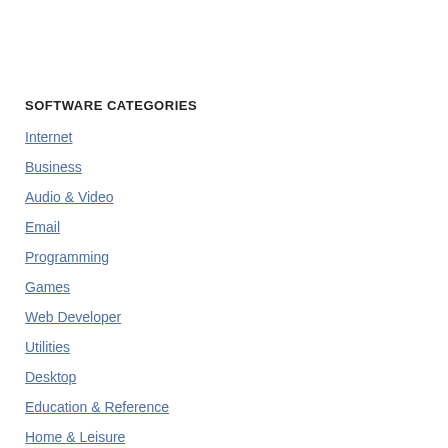SOFTWARE CATEGORIES
Internet
Business
Audio & Video
Email
Programming
Games
Web Developer
Utilities
Desktop
Education & Reference
Home & Leisure